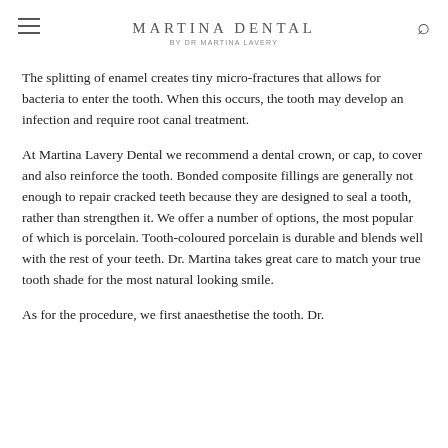MARTINA DENTAL
BY DR MARTINA LAVERY
The splitting of enamel creates tiny micro-fractures that allows for bacteria to enter the tooth. When this occurs, the tooth may develop an infection and require root canal treatment.
At Martina Lavery Dental we recommend a dental crown, or cap, to cover and also reinforce the tooth. Bonded composite fillings are generally not enough to repair cracked teeth because they are designed to seal a tooth, rather than strengthen it. We offer a number of options, the most popular of which is porcelain. Tooth-coloured porcelain is durable and blends well with the rest of your teeth. Dr. Martina takes great care to match your true tooth shade for the most natural looking smile.
As for the procedure, we first anaesthetise the tooth. Dr.